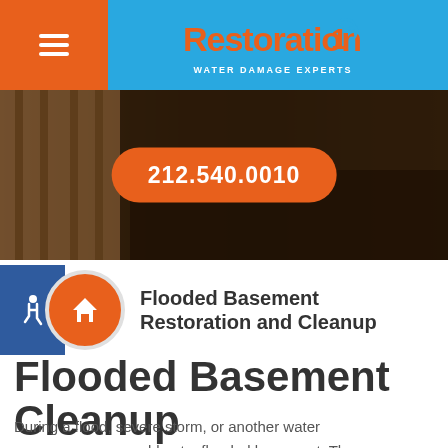Restoration 1 Water Damage Experts — 212.540.0010
[Figure (photo): Flooded basement interior with wooden structures and water damage, showing a phone number pill overlay: 212.540.0010]
Flooded Basement Restoration and Cleanup
Flooded Basement Cleanup
During a flood, severe storm, or another water emergency, you could get a flooded basement. The